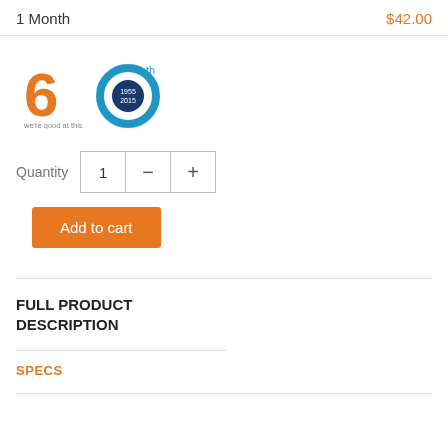1 Month
$42.00
[Figure (logo): 60th anniversary logo: orange '60' with blue circle, years 1955-2015, tagline 'we're good at this']
Quantity  1  —  +
Add to cart
FULL PRODUCT DESCRIPTION
SPECS